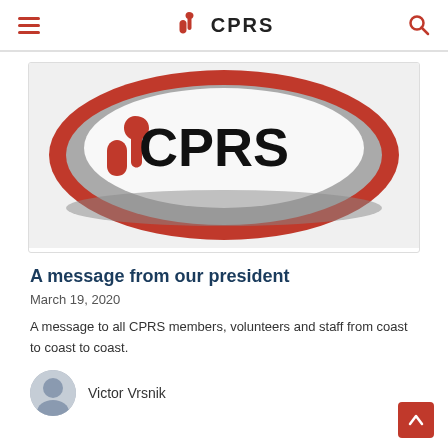CPRS
[Figure (logo): CPRS logo on a circular red and grey background with white center, showing the CPRS icon and text 'CPRS' in large black letters]
A message from our president
March 19, 2020
A message to all CPRS members, volunteers and staff from coast to coast to coast.
Victor Vrsnik